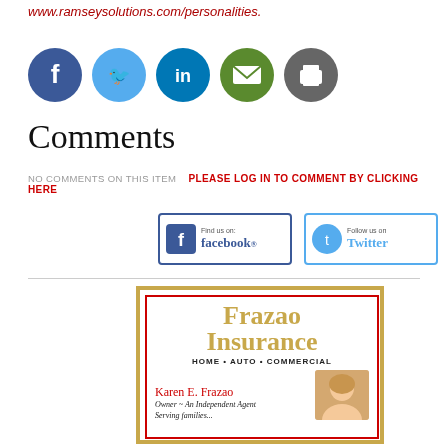www.ramseysolutions.com/personalities.
[Figure (infographic): Five social sharing icons in circles: Facebook (blue), Twitter (light blue), LinkedIn (blue), Email (green), Print (gray)]
Comments
NO COMMENTS ON THIS ITEM   PLEASE LOG IN TO COMMENT BY CLICKING HERE
[Figure (infographic): Two social media buttons side by side: 'Find us on facebook' button with Facebook logo, and 'Follow us on Twitter' button with Twitter bird logo]
[Figure (infographic): Frazao Insurance advertisement. Golden and red bordered box. Text reads: Frazao Insurance, HOME • AUTO • COMMERCIAL, Karen E. Frazao, Owner ~ An Independent Agent. Photo of a smiling woman.]